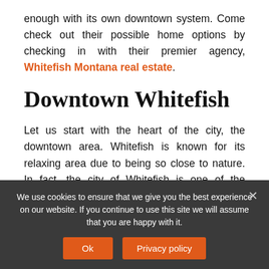enough with its own downtown system. Come check out their possible home options by checking in with their premier agency, Whitefish Montana real estate.
Downtown Whitefish
Let us start with the heart of the city, the downtown area. Whitefish is known for its relaxing area due to being so close to nature. In fact, the city of Whitefish is one of the cleanest places in the entire world. The amount of fresh air coupled
We use cookies to ensure that we give you the best experience on our website. If you continue to use this site we will assume that you are happy with it.
Ok   Privacy policy